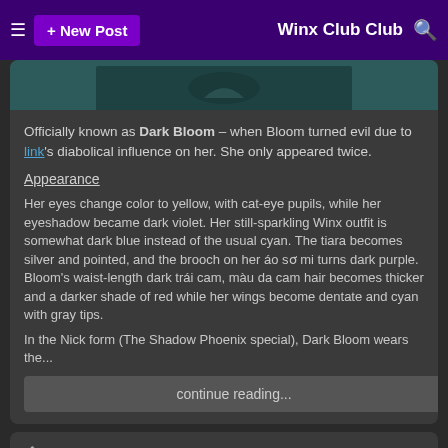≡  + New Post    Winx Club Club  🔍
[Figure (screenshot): Partial image of a character at top of card, dark teal background]
Officially known as Dark Bloom – when Bloom turned evil due to link's diabolical influence on her. She only appeared twice.
Appearance
Her eyes change color to yellow, with cat-eye pupils, while her eyeshadow became dark violet. Her still-sparkling Winx outfit is somewhat dark blue instead of the usual cyan. The tiara becomes silver and pointed, and the brooch on her áo sơ mi turns dark purple. Bloom's waist-length dark trái cam, màu da cam hair becomes thicker and a darker shade of red while her wings become dentate and cyan with gray tips.
In the Nick form (The Shadow Phoenix special), Dark Bloom wears the...
continue reading...
The Mất tích Heir: Chapter 1
posted by Mariolka